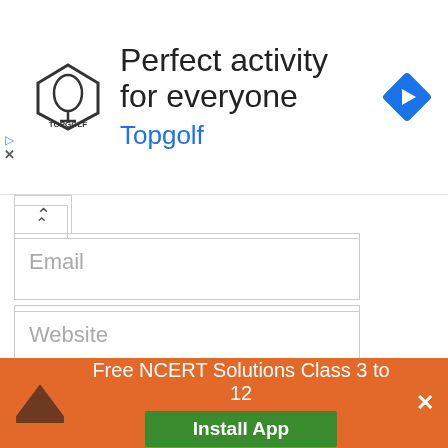[Figure (screenshot): Topgolf advertisement banner with logo, 'Perfect activity for everyone' headline, brand name in blue, and navigation arrow icon]
Email
Website
Save my name, email, and website in this browser for the next time I comment.
Post Comment
[Figure (screenshot): Orange install app banner: crown icon, 'Free NCERT Solutions Class 3 to 12', green 'Install App' button, white X close button]